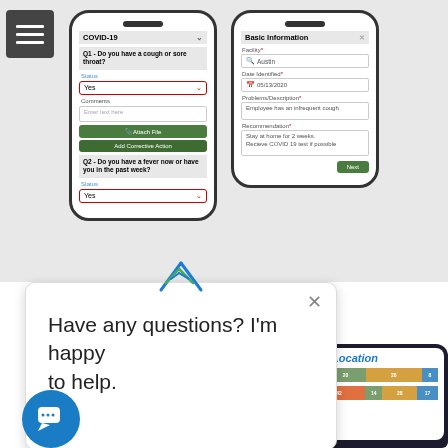[Figure (screenshot): Two mobile phone screenshots showing a COVID-19 symptom screening form. Left phone shows: COVID-19 header, Q1 'Do you have a cough or sore throat?', Status dropdown with 'Yes' selected (red border), Comments text field, Attach File button, Add Corrective Action button, Q2 'Do you have a fever now or have you in the past week?', Status dropdown with 'Yes' selected (red border). Right phone shows: Basic Information header, Facility field with 'Austin' search, Date Identified field '05/13/2020', Problems/Description 'Employee has an infrequent cough', Recommendation 'Stay at home for 2 weeks. Recieve COVID 19 test if possible', Next button.]
[Figure (screenshot): Chat widget popup showing a logo with arrow/chevron motif, a close X button, and text 'Have any questions? I'm happy to help.' with a blue circular chat bubble icon at bottom left.]
[Figure (stacked-bar-chart): Inspections by Location]